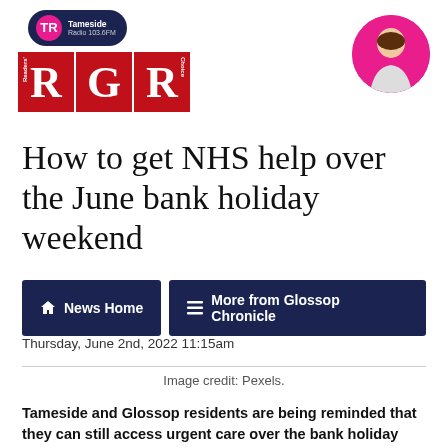[Figure (logo): Tameside Radio 103.6FM logo badge above RGR (Readers' Choice) red block letters logo, and a circular avatar photo of a man against a pink/purple background]
How to get NHS help over the June bank holiday weekend
News Home   More from Glossop Chronicle
Thursday, June 2nd, 2022 11:15am
Image credit: Pexels.
Tameside and Glossop residents are being reminded that they can still access urgent care over the bank holiday